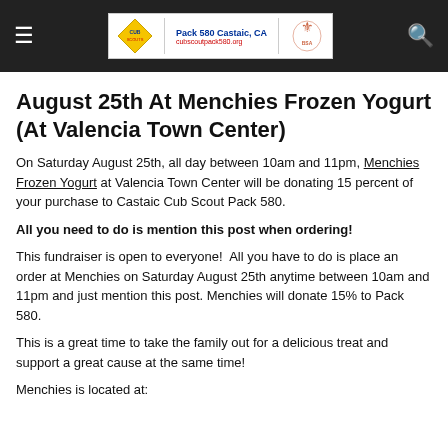Pack 580 Castaic, CA | cubscoutpack580.org
August 25th At Menchies Frozen Yogurt (At Valencia Town Center)
On Saturday August 25th, all day between 10am and 11pm, Menchies Frozen Yogurt at Valencia Town Center will be donating 15 percent of your purchase to Castaic Cub Scout Pack 580.
All you need to do is mention this post when ordering!
This fundraiser is open to everyone!  All you have to do is place an order at Menchies on Saturday August 25th anytime between 10am and 11pm and just mention this post. Menchies will donate 15% to Pack 580.
This is a great time to take the family out for a delicious treat and support a great cause at the same time!
Menchies is located at: